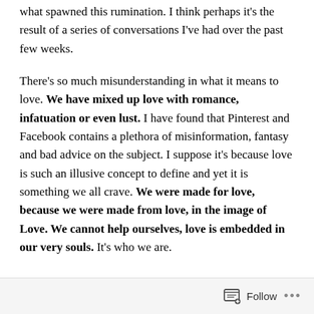what spawned this rumination. I think perhaps it's the result of a series of conversations I've had over the past few weeks.
There's so much misunderstanding in what it means to love. We have mixed up love with romance, infatuation or even lust. I have found that Pinterest and Facebook contains a plethora of misinformation, fantasy and bad advice on the subject. I suppose it's because love is such an illusive concept to define and yet it is something we all crave. We were made for love, because we were made from love, in the image of Love. We cannot help ourselves, love is embedded in our very souls. It's who we are.
Follow